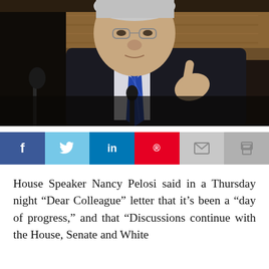[Figure (photo): Close-up photo of an elderly man with white/grey hair, glasses, wearing a dark suit and blue tie, pointing with his right index finger, speaking at what appears to be a press conference with a microphone visible. Background shows wooden panels and dark curtains.]
[Figure (infographic): Social media sharing bar with six buttons: Facebook (f, dark blue), Twitter (bird icon, light blue), LinkedIn (in, medium blue), Pinterest (P logo, red), Email (envelope icon, light grey), Print (printer icon, grey).]
House Speaker Nancy Pelosi said in a Thursday night “Dear Colleague” letter that it’s been a “day of progress,” and that “Discussions continue with the House, Senate and White